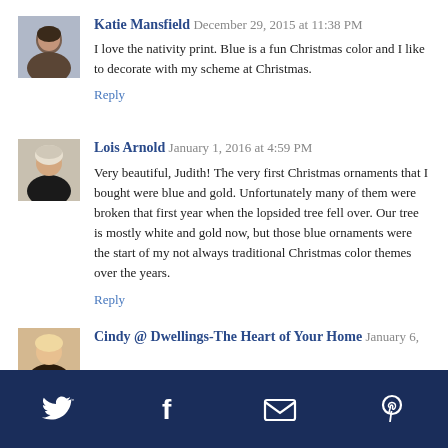[Figure (photo): Avatar photo of Katie Mansfield]
Katie Mansfield December 29, 2015 at 11:38 PM
I love the nativity print. Blue is a fun Christmas color and I like to decorate with my scheme at Christmas.
Reply
[Figure (photo): Avatar photo of Lois Arnold]
Lois Arnold January 1, 2016 at 4:59 PM
Very beautiful, Judith! The very first Christmas ornaments that I bought were blue and gold. Unfortunately many of them were broken that first year when the lopsided tree fell over. Our tree is mostly white and gold now, but those blue ornaments were the start of my not always traditional Christmas color themes over the years.
Reply
[Figure (photo): Avatar photo of Cindy @ Dwellings-The Heart of Your Home]
Cindy @ Dwellings-The Heart of Your Home January 6,
Twitter | Facebook | Email | Pinterest (social share icons)